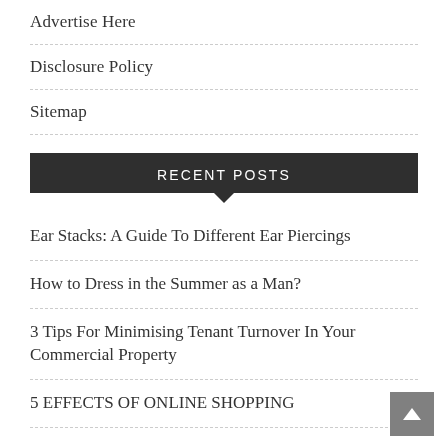Advertise Here
Disclosure Policy
Sitemap
RECENT POSTS
Ear Stacks: A Guide To Different Ear Piercings
How to Dress in the Summer as a Man?
3 Tips For Minimising Tenant Turnover In Your Commercial Property
5 EFFECTS OF ONLINE SHOPPING